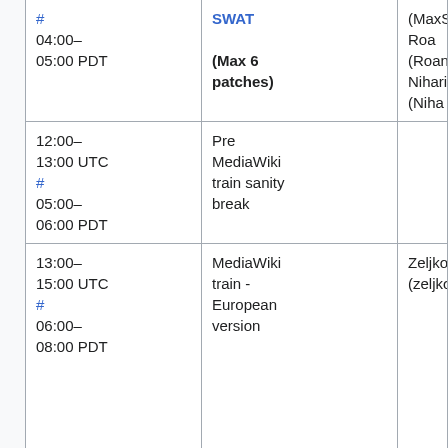|  | Time | Event | People |
| --- | --- | --- | --- |
|  | #
04:00–05:00 PDT | SWAT (Max 6 patches) | (MaxSem), Roa
(RoanKattouw)
Niharika (Niha |
|  | 12:00–13:00 UTC
#
05:00–06:00 PDT | Pre MediaWiki train sanity break |  |
|  | 13:00–15:00 UTC
#
06:00–08:00 PDT | MediaWiki train - European version | Zeljko (zeljko |
|  | 16:00–17:00 UTC | Puppet |  |